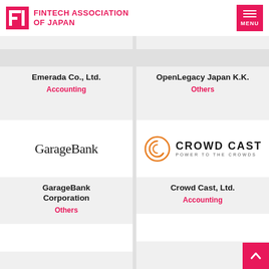FINTECH ASSOCIATION OF JAPAN
Emerada Co., Ltd.
Accounting
OpenLegacy Japan K.K.
Others
[Figure (logo): GarageBank text logo in serif-style font]
[Figure (logo): Crowd Cast logo with orange circular icon and bold uppercase text, tagline POWER TO THE CROWDS]
GarageBank Corporation
Others
Crowd Cast, Ltd.
Accounting